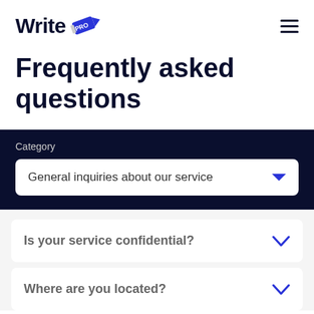Write PRO
Frequently asked questions
Category
General inquiries about our service
Is your service confidential?
Where are you located?